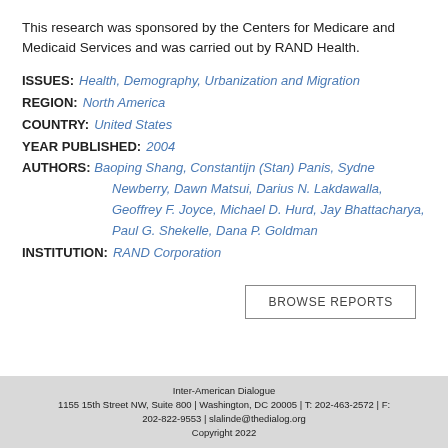This research was sponsored by the Centers for Medicare and Medicaid Services and was carried out by RAND Health.
ISSUES: Health, Demography, Urbanization and Migration
REGION: North America
COUNTRY: United States
YEAR PUBLISHED: 2004
AUTHORS: Baoping Shang, Constantijn (Stan) Panis, Sydne Newberry, Dawn Matsui, Darius N. Lakdawalla, Geoffrey F. Joyce, Michael D. Hurd, Jay Bhattacharya, Paul G. Shekelle, Dana P. Goldman
INSTITUTION: RAND Corporation
BROWSE REPORTS
Inter-American Dialogue
1155 15th Street NW, Suite 800 | Washington, DC 20005 | T: 202-463-2572 | F: 202-822-9553 | slalinde@thedialog.org
Copyright 2022